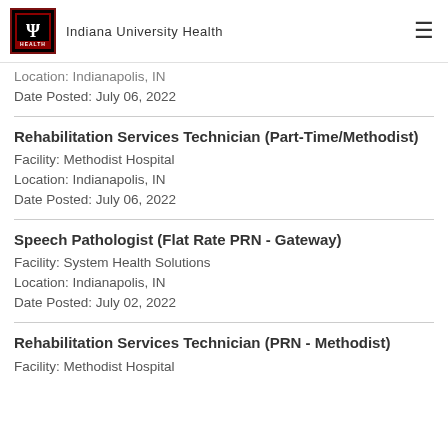Indiana University Health
Location: Indianapolis, IN
Date Posted: July 06, 2022
Rehabilitation Services Technician (Part-Time/Methodist)
Facility: Methodist Hospital
Location: Indianapolis, IN
Date Posted: July 06, 2022
Speech Pathologist (Flat Rate PRN - Gateway)
Facility: System Health Solutions
Location: Indianapolis, IN
Date Posted: July 02, 2022
Rehabilitation Services Technician (PRN - Methodist)
Facility: Methodist Hospital